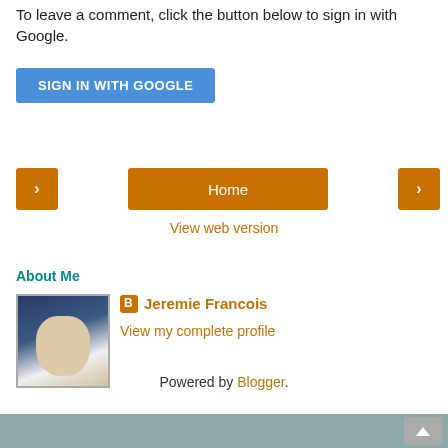To leave a comment, click the button below to sign in with Google.
[Figure (screenshot): Blue button labeled SIGN IN WITH GOOGLE]
[Figure (screenshot): Navigation bar with left arrow button, Home button (orange), and right arrow button]
View web version
About Me
[Figure (photo): Profile photo of Jeremie Francois, a man looking at camera with dark background]
Jeremie Francois
View my complete profile
Powered by Blogger.